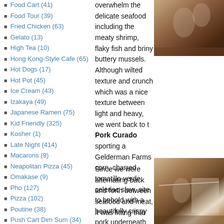Food Cart (41)
Food Tour (39)
Fried Chicken (63)
Gelato (13)
High Tea (10)
Hong Kong-Style Cafe (65)
Hot Dogs (17)
Hot Pot (45)
Ice Cream (43)
Izakaya (49)
Japanese Ramen (75)
Kid Friendly (325)
Kosher (1)
Late Night (414)
Macarons (9)
Neapolitan Pizza (45)
Omakase (9)
Pho (127)
Pizza (102)
Poutine (38)
Push Cart Dim Sum (34)
Ribs (14)
overwhelm the delicate seafood including the meaty shrimp, flaky fish and briny buttery mussels. Although wilted texture and crunch which was a nice texture between light and heavy, we went back to the Pork Curado sporting a Gelderman Farms corn, charred tomatillo verde, celeriac slaw. site to behold with a beautifully crispy pork underneath was buttery and gelatinous. Be tender, moist and also gelatinous. The sweet corn broke up the heaviness while the slight tomatillo added brightness as well as the c
[Figure (photo): Photo of restaurant table setting with wine glass, warm brown tones]
Since we were alternating back and forth between seafood and meat, it was fitting that
[Figure (photo): Photo of restaurant table setting with wine glass and menu, warm tones]